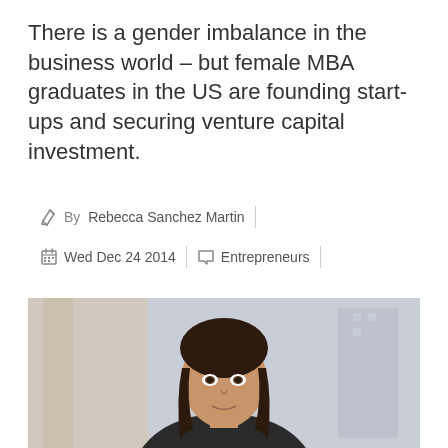There is a gender imbalance in the business world – but female MBA graduates in the US are founding start-ups and securing venture capital investment.
By Rebecca Sanchez Martin
Wed Dec 24 2014 | Entrepreneurs
[Figure (photo): Portrait photo of a young woman with long dark hair, smiling slightly, against a blurred urban background]